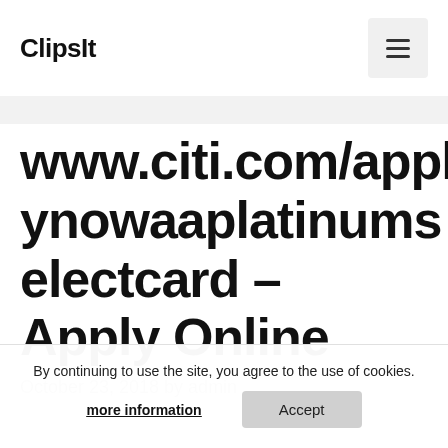ClipsIt
www.citi.com/applynowaaplatinselectcard – Apply Online
October 23, 2018 by admin
By continuing to use the site, you agree to the use of cookies. more information Accept